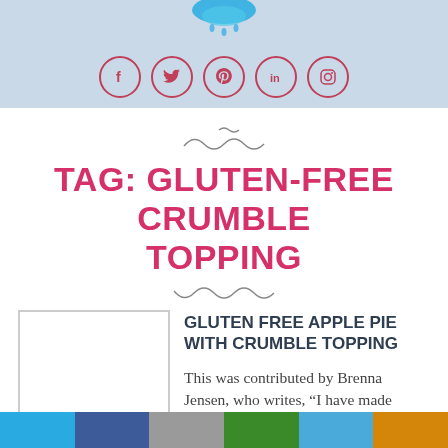Social media icons: Facebook, Twitter, Pinterest, LinkedIn, Instagram
TAG: GLUTEN-FREE CRUMBLE TOPPING
GLUTEN FREE APPLE PIE WITH CRUMBLE TOPPING
This was contributed by Brenna Jensen, who writes, "I have made
Color bar footer